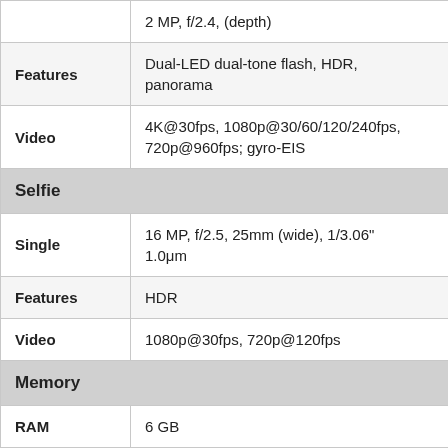| Category | Value |
| --- | --- |
| Features | Dual-LED dual-tone flash, HDR, panorama |
| Video | 4K@30fps, 1080p@30/60/120/240fps, 720p@960fps; gyro-EIS |
| Selfie |  |
| Single | 16 MP, f/2.5, 25mm (wide), 1/3.06″ 1.0μm |
| Features | HDR |
| Video | 1080p@30fps, 720p@120fps |
| Memory |  |
| RAM | 6 GB |
| Internal | 64/128 GB UFS 2.1 |
| Card Slot | No |